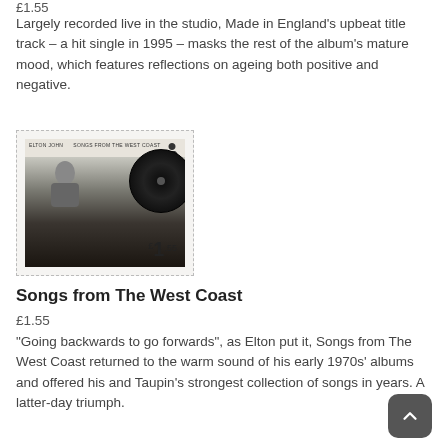£1.55
Largely recorded live in the studio, Made in England’s upbeat title track – a hit single in 1995 – masks the rest of the album’s mature mood, which features reflections on ageing both positive and negative.
[Figure (photo): Royal Mail postage stamp showing Elton John album 'Songs from The West Coast' with a vinyl record graphic and Queen silhouette, denomination £1.55]
Songs from The West Coast
£1.55
“Going backwards to go forwards”, as Elton put it, Songs from The West Coast returned to the warm sound of his early 1970s’ albums and offered his and Taupin’s strongest collection of songs in years. A latter-day triumph.